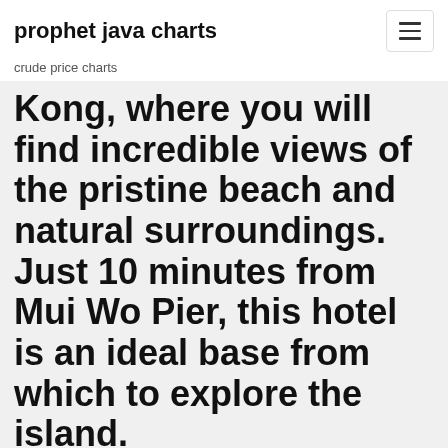prophet java charts
crude price charts
Kong, where you will find incredible views of the pristine beach and natural surroundings. Just 10 minutes from Mui Wo Pier, this hotel is an ideal base from which to explore the island.
Silver Holdings Ltd, Mombasa, Kenya. Local Business. Sign up for Facebook today to discover local businesses near you. Silver Holdings Limited located in Nairobi, Kenya. Silver Holdings Limited Address, Phone number, Email, Website,